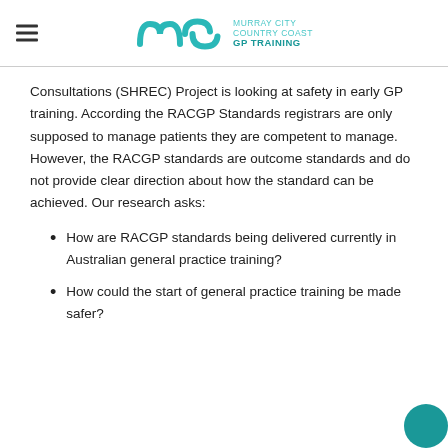MURRAY CITY COUNTRY COAST GP TRAINING
Consultations (SHREC) Project is looking at safety in early GP training. According the RACGP Standards registrars are only supposed to manage patients they are competent to manage. However, the RACGP standards are outcome standards and do not provide clear direction about how the standard can be achieved. Our research asks:
How are RACGP standards being delivered currently in Australian general practice training?
How could the start of general practice training be made safer?